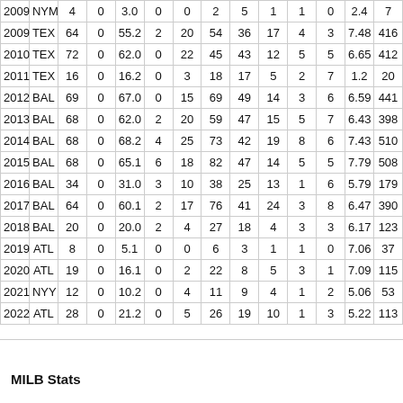| 2009 | NYM | 4 | 0 | 3.0 | 0 | 0 | 2 | 5 | 1 | 1 | 0 | 2.4 | 7 |
| 2009 | TEX | 64 | 0 | 55.2 | 2 | 20 | 54 | 36 | 17 | 4 | 3 | 7.48 | 416 |
| 2010 | TEX | 72 | 0 | 62.0 | 0 | 22 | 45 | 43 | 12 | 5 | 5 | 6.65 | 412 |
| 2011 | TEX | 16 | 0 | 16.2 | 0 | 3 | 18 | 17 | 5 | 2 | 7 | 1.2 | 20 |
| 2012 | BAL | 69 | 0 | 67.0 | 0 | 15 | 69 | 49 | 14 | 3 | 6 | 6.59 | 441 |
| 2013 | BAL | 68 | 0 | 62.0 | 2 | 20 | 59 | 47 | 15 | 5 | 7 | 6.43 | 398 |
| 2014 | BAL | 68 | 0 | 68.2 | 4 | 25 | 73 | 42 | 19 | 8 | 6 | 7.43 | 510 |
| 2015 | BAL | 68 | 0 | 65.1 | 6 | 18 | 82 | 47 | 14 | 5 | 5 | 7.79 | 508 |
| 2016 | BAL | 34 | 0 | 31.0 | 3 | 10 | 38 | 25 | 13 | 1 | 6 | 5.79 | 179 |
| 2017 | BAL | 64 | 0 | 60.1 | 2 | 17 | 76 | 41 | 24 | 3 | 8 | 6.47 | 390 |
| 2018 | BAL | 20 | 0 | 20.0 | 2 | 4 | 27 | 18 | 4 | 3 | 3 | 6.17 | 123 |
| 2019 | ATL | 8 | 0 | 5.1 | 0 | 0 | 6 | 3 | 1 | 1 | 0 | 7.06 | 37 |
| 2020 | ATL | 19 | 0 | 16.1 | 0 | 2 | 22 | 8 | 5 | 3 | 1 | 7.09 | 115 |
| 2021 | NYY | 12 | 0 | 10.2 | 0 | 4 | 11 | 9 | 4 | 1 | 2 | 5.06 | 53 |
| 2022 | ATL | 28 | 0 | 21.2 | 0 | 5 | 26 | 19 | 10 | 1 | 3 | 5.22 | 113 |
MILB Stats